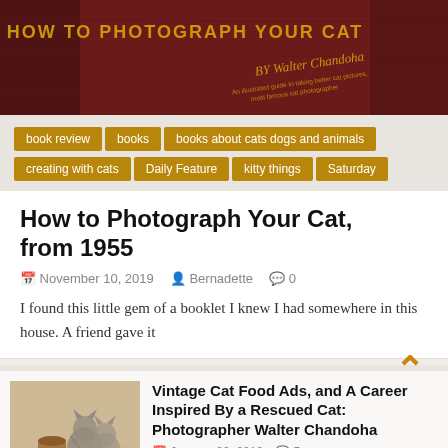[Figure (photo): Book cover of 'How to Photograph Your Cat' by Walter Chandoha, with golden text on a dark red/brown textured background]
book review
books
books about cats dogs and animals
creating with cats
Daily Feature
kitty things
Saturday
How to Photograph Your Cat, from 1955
November 10, 2019   Bernadette   0
I found this little gem of a booklet I knew I had somewhere in this house. A friend gave it
[Figure (photo): Vintage photograph of kittens with a jug/vase, sepia toned]
Vintage Cat Food Ads, and A Career Inspired By a Rescued Cat: Photographer Walter Chandoha
January 20, 2019   5
[Figure (photo): Vintage cat photograph, sepia toned]
A Career Inspired By a Rescued Cat,